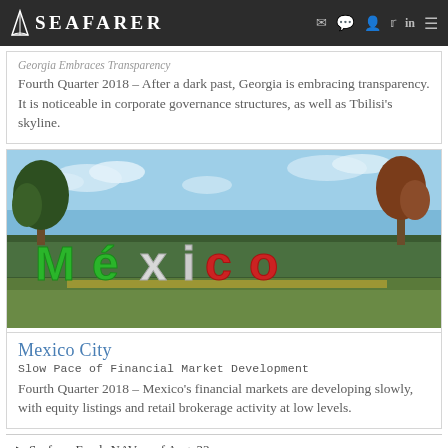Seafarer
Georgia Embraces Transparency
Fourth Quarter 2018 – After a dark past, Georgia is embracing transparency. It is noticeable in corporate governance structures, as well as Tbilisi's skyline.
[Figure (photo): Colorful large 'México' letters sign in green, white, and red colors, placed outdoors with trees and blue sky background.]
Mexico City
Slow Pace of Financial Market Development
Fourth Quarter 2018 – Mexico's financial markets are developing slowly, with equity listings and retail brokerage activity at low levels.
Seafarer Funds NAV as of Aug. 23